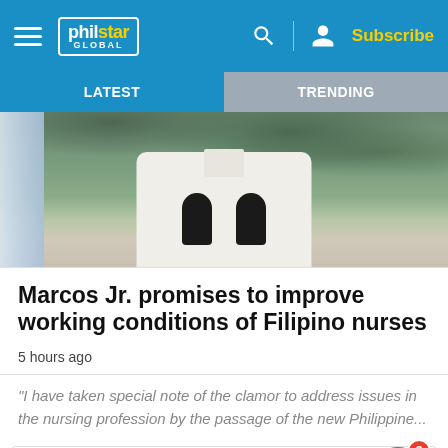philstar GLOBAL — Subscribe
LATEST | TRENDING
[Figure (photo): Man in white long-sleeve shirt speaking at podium with two microphones, green foliage background, Philippine flag visible on left]
Marcos Jr. promises to improve working conditions of Filipino nurses
5 hours ago
“I have taken special note of the clamor to address issues in the nursing profession by the passage of the new Philippine...
This site uses cookies. By continuing to browse the site, you are agreeing to our use of cookies.